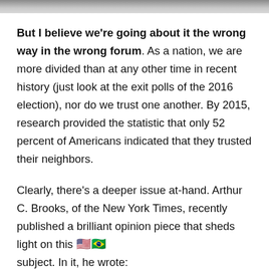[Figure (photo): Cropped image strip at the top of the page, partially visible.]
But I believe we're going about it the wrong way in the wrong forum. As a nation, we are more divided than at any other time in recent history (just look at the exit polls of the 2016 election), nor do we trust one another. By 2015, research provided the statistic that only 52 percent of Americans indicated that they trusted their neighbors.
Clearly, there's a deeper issue at-hand. Arthur C. Brooks, of the New York Times, recently published a brilliant opinion piece that sheds light on this subject. In it, he wrote: